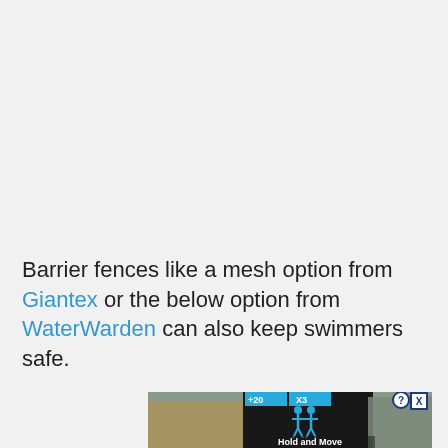Barrier fences like a mesh option from Giantex or the below option from WaterWarden can also keep swimmers safe.
[Figure (screenshot): Partial screenshot of an advertisement showing a 'Hold and Move' interface with two figures icon, blue top bar with controls, and background of trees/outdoor scene.]